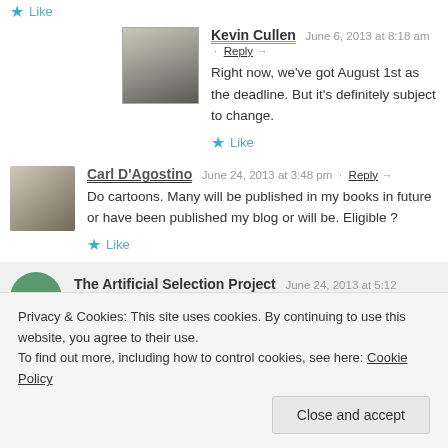Like
Kevin Cullen   June 6, 2013 at 8:18 am · Reply →
Right now, we've got August 1st as the deadline. But it's definitely subject to change.
Like
Carl D'Agostino   June 24, 2013 at 3:48 pm · Reply →
Do cartoons. Many will be published in my books in future or have been published my blog or will be. Eligible ?
Like
The Artificial Selection Project   June 24, 2013 at 5:12
Privacy & Cookies: This site uses cookies. By continuing to use this website, you agree to their use.
To find out more, including how to control cookies, see here: Cookie Policy
Close and accept